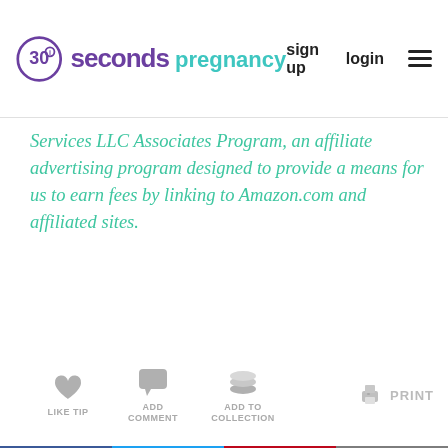30 seconds pregnancy | sign up | login
Services LLC Associates Program, an affiliate advertising program designed to provide a means for us to earn fees by linking to Amazon.com and affiliated sites.
[Figure (infographic): Action icons row: heart (LIKE TIP), speech bubble (ADD COMMENT), layers (ADD TO COLLECTION), printer (PRINT)]
[Figure (infographic): Social share buttons row: Facebook (blue), Twitter (light blue), Pinterest (red), Email (gray)]